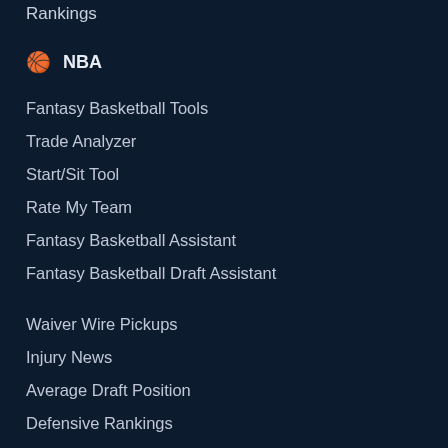Rankings
🏀 NBA
Fantasy Basketball Tools
Trade Analyzer
Start/Sit Tool
Rate My Team
Fantasy Basketball Assistant
Fantasy Basketball Draft Assistant
Waiver Wire Pickups
Injury News
Average Draft Position
Defensive Rankings
Trade Value Charts
Daily Projections
Weekly Projections